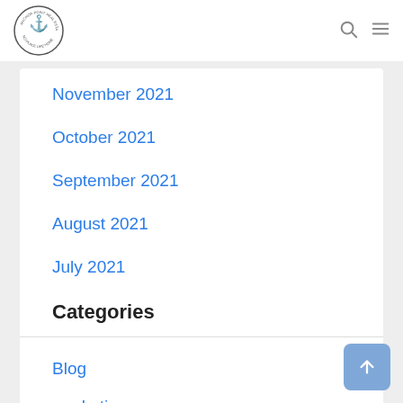Navigation bar with anchor logo, search icon, and menu icon
November 2021
October 2021
September 2021
August 2021
July 2021
Categories
Blog
marketing
Office
Real Estate